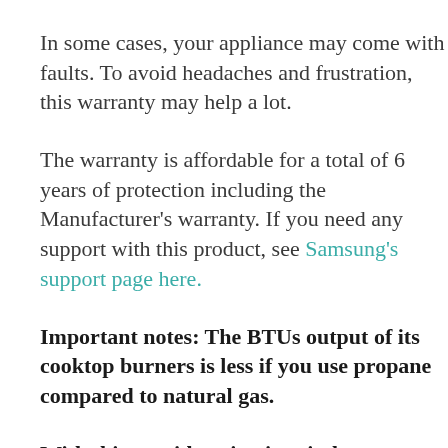In some cases, your appliance may come with faults. To avoid headaches and frustration, this warranty may help a lot.
The warranty is affordable for a total of 6 years of protection including the Manufacturer's warranty. If you need any support with this product, see Samsung's support page here.
Important notes: The BTUs output of its cooktop burners is less if you use propane compared to natural gas.
With this consideration in mind, you may purchase the model with a round, general